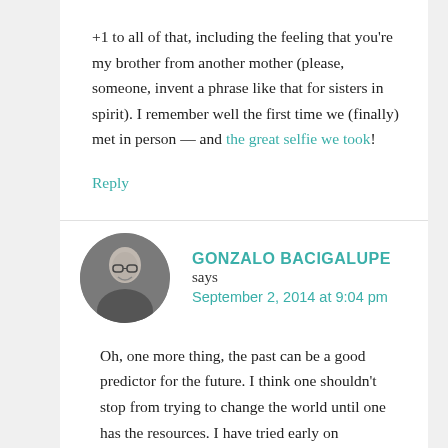+1 to all of that, including the feeling that you're my brother from another mother (please, someone, invent a phrase like that for sisters in spirit). I remember well the first time we (finally) met in person — and the great selfie we took!
Reply
[Figure (photo): Circular avatar photo of Gonzalo Bacigalupe, a man with glasses, black and white photo]
GONZALO BACIGALUPE says September 2, 2014 at 9:04 pm
Oh, one more thing, the past can be a good predictor for the future. I think one shouldn't stop from trying to change the world until one has the resources. I have tried early on